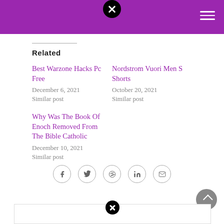Related
Best Warzone Hacks Pc Free
December 6, 2021
Similar post
Nordstrom Vuori Men S Shorts
October 20, 2021
Similar post
Why Was The Book Of Enoch Removed From The Bible Catholic
December 10, 2021
Similar post